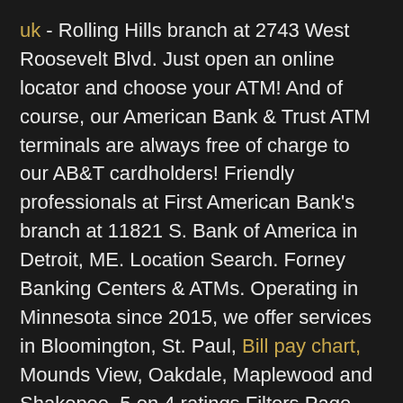uk - Rolling Hills branch at 2743 West Roosevelt Blvd. Just open an online locator and choose your ATM! And of course, our American Bank & Trust ATM terminals are always free of charge to our AB&T cardholders! Friendly professionals at First American Bank's branch at 11821 S. Bank of America in Detroit, ME. Location Search. Forney Banking Centers & ATMs. Operating in Minnesota since 2015, we offer services in Bloomington, St. Paul, Bill pay chart, Mounds View, Oakdale, Maplewood and Shakopee. 5 on 4 ratings Filters Page 256 / 447 Regions within United States Arizona 362 Bank of America at South Saginaw Road, Midland MI - Branch location, hours, phone number, holidays, and directions. American Eagle Bank, South Elgin, Chicago. From Business: Welcome to Bank of America in Pensacola, FL, home to a variety of your financial needs including checking and savings accounts, online banking,